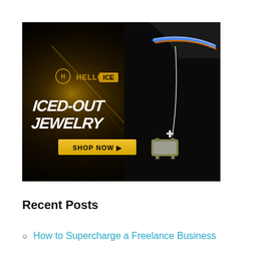[Figure (advertisement): Hello ICE advertisement banner showing a dark image of a person wearing multiple jewelry items (colorful chain necklace, silver chain with cross pendant, and a luxury watch). Text reads 'HELLO ICE' with logo, 'ICED-OUT JEWELRY' in stylized italic text, and a yellow 'SHOP NOW ▶' button. Background has golden light flare on dark background.]
Recent Posts
How to Supercharge a Freelance Business